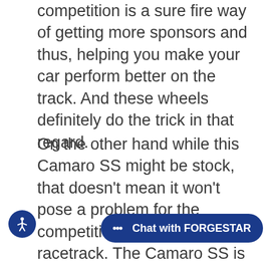competition is a sure fire way of getting more sponsors and thus, helping you make your car perform better on the track. And these wheels definitely do the trick in that regard.
On the other hand while this Camaro SS might be stock, that doesn't mean it won't pose a problem for the competition in its class at the racetrack. The Camaro SS is powered by a 6.2L LT1 V8 engine, delivering 455 horsepower and 455 lb-ft. of torque, combined with an 8-speed automatic. Chevrolet reports that the SS is capable of a 0-60mph (0-97km/h) run in 4.0 seconds, while the car was reported to run a 1/4 mile time of around 12.4 seconds. However, with a set of F... wheels and Mickey Th... tires, this time will definitely improve